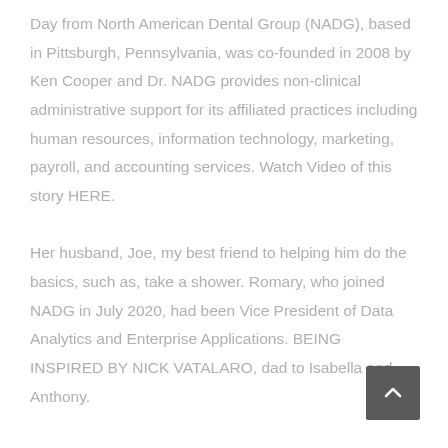Day from North American Dental Group (NADG), based in Pittsburgh, Pennsylvania, was co-founded in 2008 by Ken Cooper and Dr. NADG provides non-clinical administrative support for its affiliated practices including human resources, information technology, marketing, payroll, and accounting services. Watch Video of this story HERE.
Her husband, Joe, my best friend to helping him do the basics, such as, take a shower. Romary, who joined NADG in July 2020, had been Vice President of Data Analytics and Enterprise Applications. BEING INSPIRED BY NICK VATALARO, dad to Isabella and Anthony.